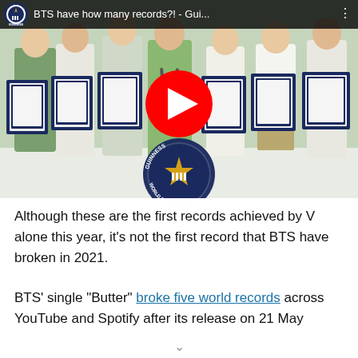[Figure (screenshot): YouTube video thumbnail showing BTS members holding Guinness World Records certificates. Guinness World Records logo and a YouTube play button are overlaid on the image. The video title reads 'BTS have how many records?! - Gui...']
Although these are the first records achieved by V alone this year, it's not the first record that BTS have broken in 2021.
BTS' single "Butter" broke five world records across YouTube and Spotify after its release on 21 May